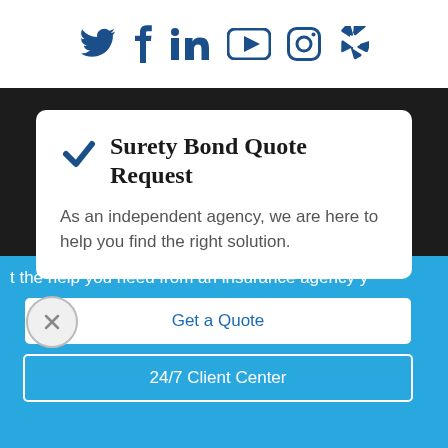[Figure (other): Social media icons row: Twitter, Facebook, LinkedIn, YouTube, Instagram, Yelp — all in dark blue on white background]
Surety Bond Quote Request
As an independent agency, we are here to help you find the right solution.
t the help you need from an insurance agency y
Get a Quote
24/7 Client Center